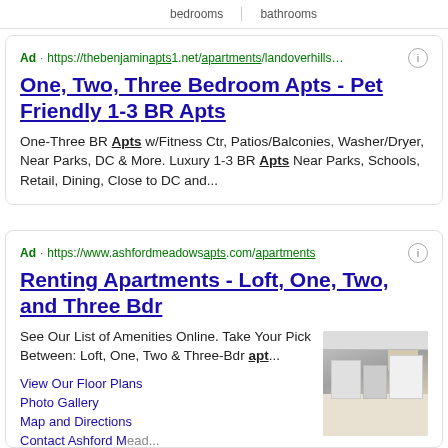[Figure (photo): Partial photo in top-left corner, gray/white tones suggesting bedding or fabric]
bedrooms   bathrooms
Ad · https://thebenjaminapts1.net/apartments/landoverhills…
One, Two, Three Bedroom Apts - Pet Friendly 1-3 BR Apts
One-Three BR Apts w/Fitness Ctr, Patios/Balconies, Washer/Dryer, Near Parks, DC & More. Luxury 1-3 BR Apts Near Parks, Schools, Retail, Dining, Close to DC and...
Ad · https://www.ashfordmeadowsapts.com/apartments
Renting Apartments - Loft, One, Two, and Three Bdr
See Our List of Amenities Online. Take Your Pick Between: Loft, One, Two & Three-Bdr apt...
[Figure (photo): Photo of apartment interior showing kitchen with white refrigerator, stove, and cabinets]
View Our Floor Plans
Photo Gallery
Map and Directions
Contact Ashford Meadows